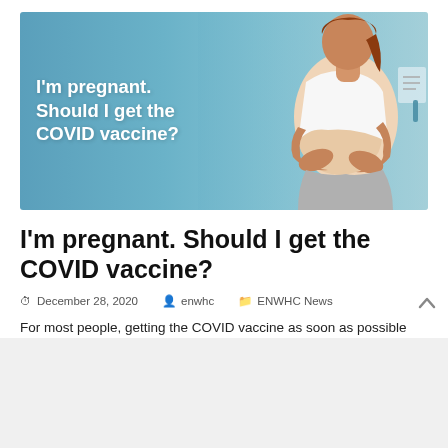[Figure (photo): A pregnant woman cradling her belly, seated, wearing a white t-shirt and grey pants, with a blue background. White bold text overlay reads: I'm pregnant. Should I get the COVID vaccine?]
I'm pregnant. Should I get the COVID vaccine?
December 28, 2020   enwhc   ENWHC News
For most people, getting the COVID vaccine as soon as possible